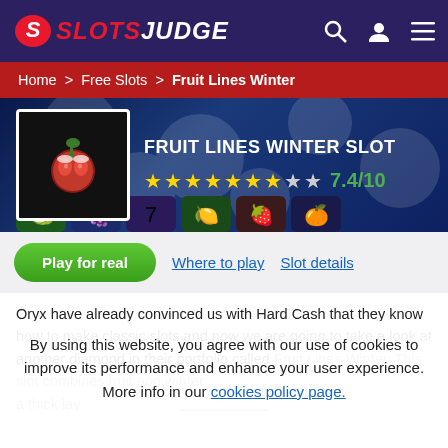SLOTS JUDGE
Home > Free Slots > Fruit Lines Winter
[Figure (screenshot): Fruit Lines Winter Slot game banner with cherry icon, title FRUIT LINES WINTER SLOT, and star rating 7.4/10]
Play for real | Where to play | Slot details
Oryx have already convinced us with Hard Cash that they know how to make classic slots and now we are going to take a look at another diamond in their portfolio called Fruit Lines Winter. This slot combines fruit and winter a thick layer of snow. Today we will consider all the bonus features of this game, mathematical model and potential so stay with us!
By using this website, you agree with our use of cookies to improve its performance and enhance your user experience. More info in our cookies policy page.
Ok